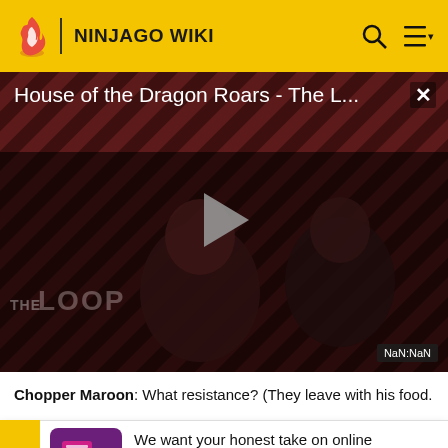NINJAGO WIKI
[Figure (screenshot): Video player showing 'House of the Dragon Roars - The L...' with diagonal stripe background, play button, THE LOOP branding, and NaN:NaN timestamp]
Chopper Maroon: What resistance? (They leave with his food.
[Figure (infographic): Survey popup: 'We want your honest take on online discussions' with SURVEY: ONLINE FORUMS link and purple icon]
Dare